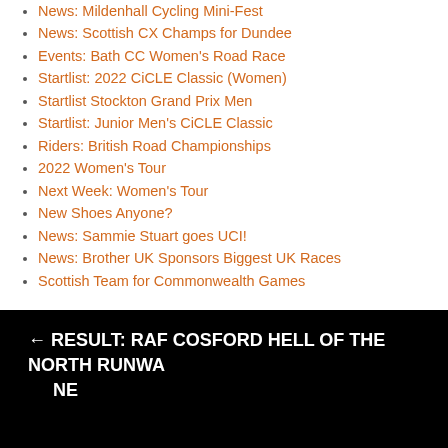News: Mildenhall Cycling Mini-Fest
News: Scottish CX Champs for Dundee
Events: Bath CC Women's Road Race
Startlist: 2022 CiCLE Classic (Women)
Startlist Stockton Grand Prix Men
Startlist: Junior Men's CiCLE Classic
Riders: British Road Championships
2022 Women's Tour
Next Week: Women's Tour
New Shoes Anyone?
News: Sammie Stuart goes UCI!
News: Brother UK Sponsors Biggest UK Races
Scottish Team for Commonwealth Games
← RESULT: RAF COSFORD HELL OF THE NORTH RUNWAY NE